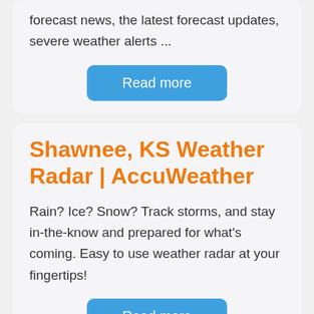forecast news, the latest forecast updates, severe weather alerts ...
Read more
Shawnee, KS Weather Radar | AccuWeather
Rain? Ice? Snow? Track storms, and stay in-the-know and prepared for what's coming. Easy to use weather radar at your fingertips!
Read more